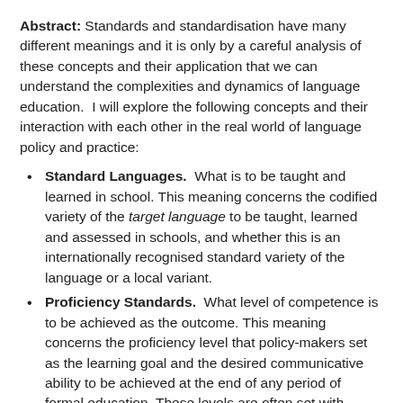Abstract: Standards and standardisation have many different meanings and it is only by a careful analysis of these concepts and their application that we can understand the complexities and dynamics of language education. I will explore the following concepts and their interaction with each other in the real world of language policy and practice:
Standard Languages. What is to be taught and learned in school. This meaning concerns the codified variety of the target language to be taught, learned and assessed in schools, and whether this is an internationally recognised standard variety of the language or a local variant.
Proficiency Standards. What level of competence is to be achieved as the outcome. This meaning concerns the proficiency level that policy-makers set as the learning goal and the desired communicative ability to be achieved at the end of any period of formal education. These levels are often set with regards a common framework, e.g. from the CEFR, ...